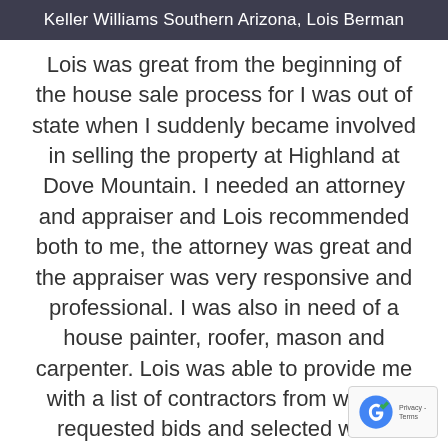Keller Williams Southern Arizona, Lois Berman
Lois was great from the beginning of the house sale process for I was out of state when I suddenly became involved in selling the property at Highland at Dove Mountain. I needed an attorney and appraiser and Lois recommended both to me, the attorney was great and the appraiser was very responsive and professional. I was also in need of a house painter, roofer, mason and carpenter. Lois was able to provide me with a list of contractors from which I requested bids and selected who I thought was best for my needs and all did great work. When it came to list the property, Lois had her finger on the pulse of the current market and priced it